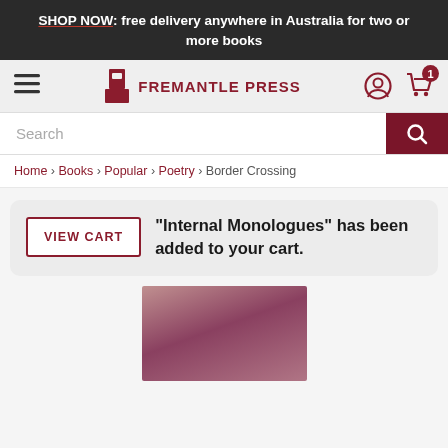SHOP NOW: free delivery anywhere in Australia for two or more books
[Figure (screenshot): Fremantle Press navigation bar with hamburger menu, logo, user icon, and cart icon showing 1 item]
Search
Home > Books > Popular > Poetry > Border Crossing
"Internal Monologues" has been added to your cart.
[Figure (photo): Book cover image partially shown, dark rose/mauve gradient color]